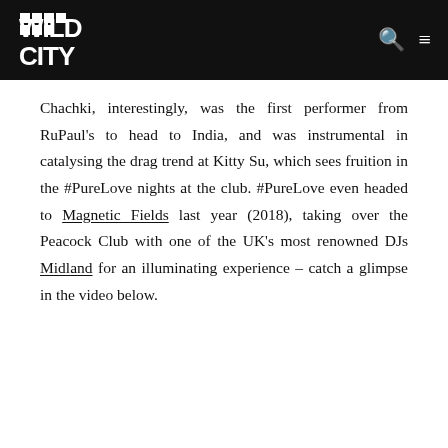Wild City logo, search icon, hamburger menu
Chachki, interestingly, was the first performer from RuPaul's to head to India, and was instrumental in catalysing the drag trend at Kitty Su, which sees fruition in the #PureLove nights at the club. #PureLove even headed to Magnetic Fields last year (2018), taking over the Peacock Club with one of the UK's most renowned DJs Midland for an illuminating experience – catch a glimpse in the video below.